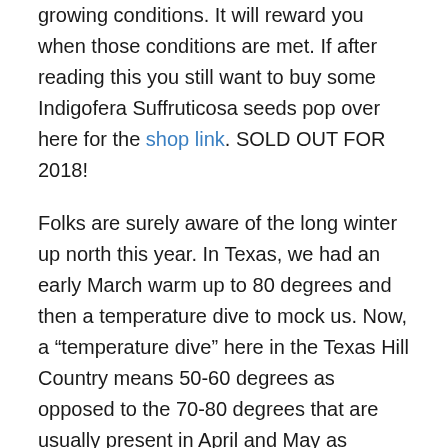growing conditions. It will reward you when those conditions are met. If after reading this you still want to buy some Indigofera Suffruticosa seeds pop over here for the shop link. SOLD OUT FOR 2018!
Folks are surely aware of the long winter up north this year. In Texas, we had an early March warm up to 80 degrees and then a temperature dive to mock us. Now, a “temperature dive” here in the Texas Hill Country means 50-60 degrees as opposed to the 70-80 degrees that are usually present in April and May as Mother Nature reeves her engine up in preparation for the 90-100 degrees in late May and June. Different perspective on heat for growing temperature depends on where you live.
During the March/April early warmth of 80 degrees on March 17th I tucked in my Japanese Indigo seeds into